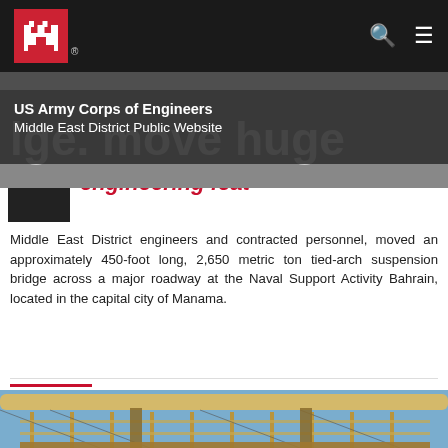US Army Corps of Engineers Middle East District Public Website
engineering feat
Middle East District engineers and contracted personnel, moved an approximately 450-foot long, 2,650 metric ton tied-arch suspension bridge across a major roadway at the Naval Support Activity Bahrain, located in the capital city of Manama.
November
[Figure (photo): Construction photo showing a large tied-arch bridge structure with scaffolding and steel beams against a blue sky]